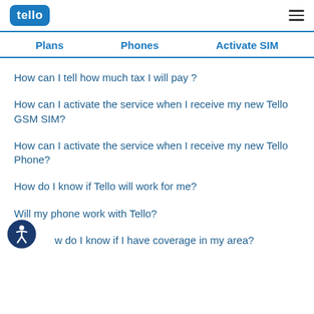tello
Plans   Phones   Activate SIM
How can I tell how much tax I will pay?
How can I activate the service when I receive my new Tello GSM SIM?
How can I activate the service when I receive my new Tello Phone?
How do I know if Tello will work for me?
Will my phone work with Tello?
How do I know if I have coverage in my area?